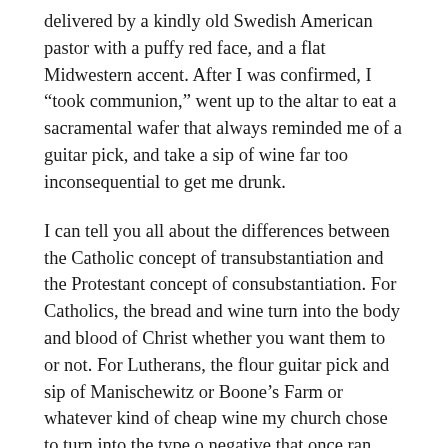delivered by a kindly old Swedish American pastor with a puffy red face, and a flat Midwestern accent. After I was confirmed, I “took communion,” went up to the altar to eat a sacramental wafer that always reminded me of a guitar pick, and take a sip of wine far too inconsequential to get me drunk.
I can tell you all about the differences between the Catholic concept of transubstantiation and the Protestant concept of consubstantiation. For Catholics, the bread and wine turn into the body and blood of Christ whether you want them to or not. For Lutherans, the flour guitar pick and sip of Manischewitz or Boone’s Farm or whatever kind of cheap wine my church chose to turn into the type o negative that once ran through the veins of our Lord and Savior wouldn’t make the transformation unless, to quote Saint Paul, you had “faith in the Son of God, who loved me and gave himself for me.” But for me neither Catholic nor Lutheran services offered access to the body and blood of Christ. While I did